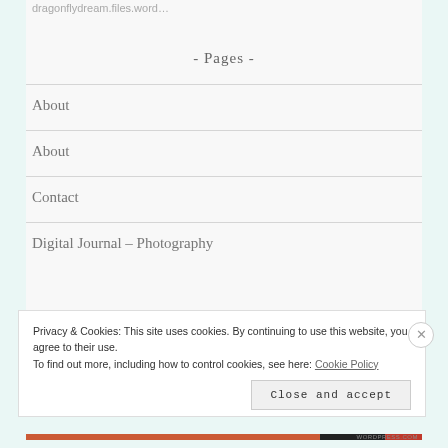dragonflydream.files.word…
- Pages -
About
About
Contact
Digital Journal – Photography
Privacy & Cookies: This site uses cookies. By continuing to use this website, you agree to their use.
To find out more, including how to control cookies, see here: Cookie Policy
Close and accept